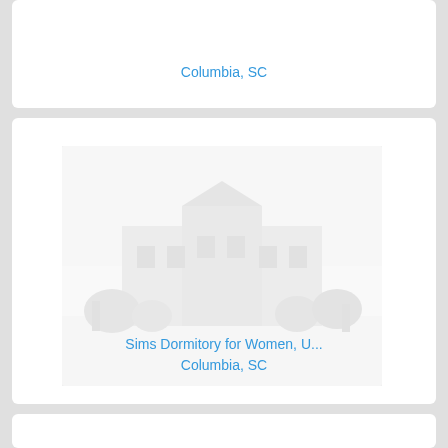Columbia, SC
[Figure (photo): Faded/washed out photograph of Sims Dormitory for Women building exterior, University of South Carolina, Columbia, SC]
Sims Dormitory for Women, U...
Columbia, SC